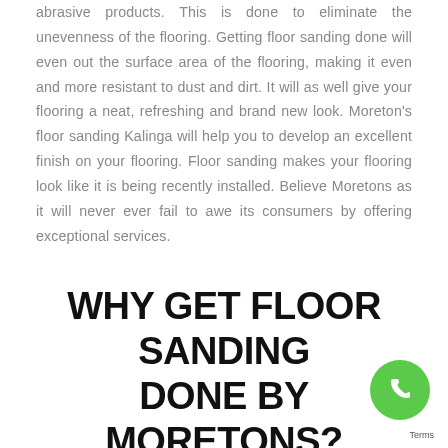abrasive products. This is done to eliminate the unevenness of the flooring. Getting floor sanding done will even out the surface area of the flooring, making it even and more resistant to dust and dirt. It will as well give your flooring a neat, refreshing and brand new look. Moreton's floor sanding Kalinga will help you to develop an excellent finish on your flooring. Floor sanding makes your flooring look like it is being recently installed. Believe Moretons as it will never ever fail to awe its consumers by offering exceptional services.
WHY GET FLOOR SANDING DONE BY MORETONS?